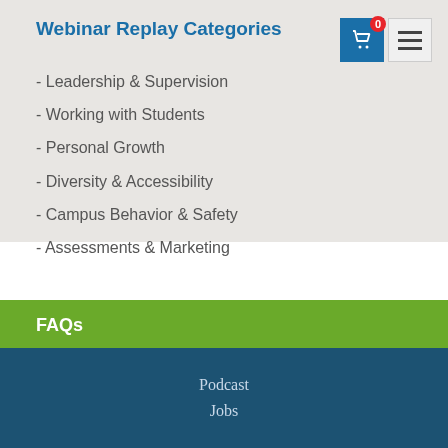Webinar Replay Categories
- Leadership & Supervision
- Working with Students
- Personal Growth
- Diversity & Accessibility
- Campus Behavior & Safety
- Assessments & Marketing
FAQs
Podcast
Jobs